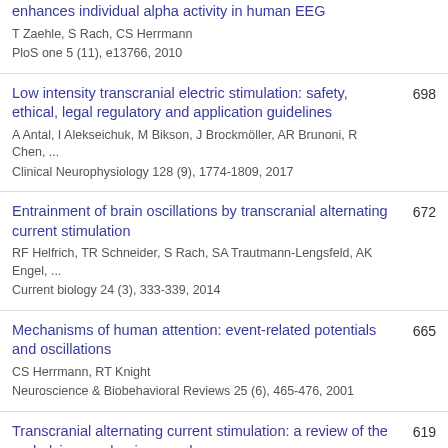enhances individual alpha activity in human EEG
T Zaehle, S Rach, CS Herrmann
PloS one 5 (11), e13766, 2010
Low intensity transcranial electric stimulation: safety, ethical, legal regulatory and application guidelines
A Antal, I Alekseichuk, M Bikson, J Brockmöller, AR Brunoni, R Chen, ...
Clinical Neurophysiology 128 (9), 1774-1809, 2017
698
Entrainment of brain oscillations by transcranial alternating current stimulation
RF Helfrich, TR Schneider, S Rach, SA Trautmann-Lengsfeld, AK Engel, ...
Current biology 24 (3), 333-339, 2014
672
Mechanisms of human attention: event-related potentials and oscillations
CS Herrmann, RT Knight
Neuroscience & Biobehavioral Reviews 25 (6), 465-476, 2001
665
Transcranial alternating current stimulation: a review of the underlying mechanisms and
619